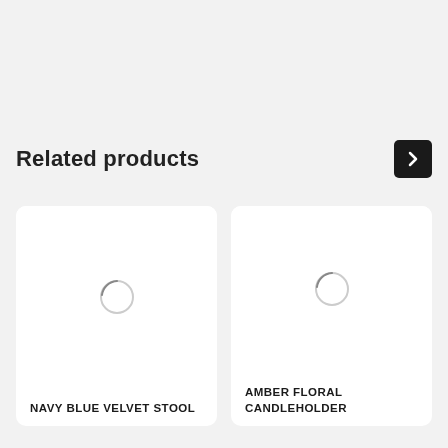Related products
[Figure (screenshot): Product card with loading spinner for NAVY BLUE VELVET STOOL]
NAVY BLUE VELVET STOOL
[Figure (screenshot): Product card with loading spinner for AMBER FLORAL CANDLEHOLDER]
AMBER FLORAL CANDLEHOLDER